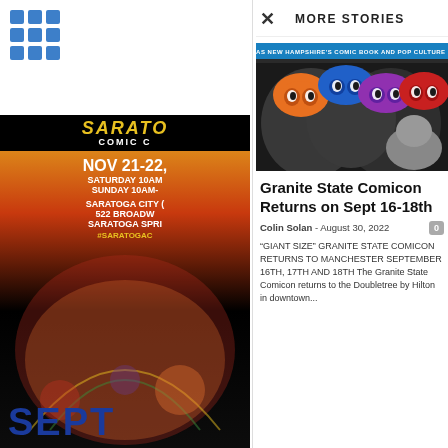[Figure (logo): Blue grid/apps icon in top left]
[Figure (illustration): Saratoga Comic Con advertisement: Nov 21-22, Saturday 10AM, Sunday 10AM, Saratoga City, 522 Broadway, Saratoga Springs, #SARATOGACC]
[Figure (illustration): Mid-Hudson Comic Con advertisement, August 2X]
× MORE STORIES
[Figure (photo): Photo showing Teenage Mutant Ninja Turtles colorful eye masks (orange, blue, purple, red) in black and white background with a man's face visible, banner reading '20 YEARS AS NEW HAMPSHIRE'S COMIC BOOK AND POP CULTURE FESTIVAL!']
Granite State Comicon Returns on Sept 16-18th
Colin Solan  -  August 30, 2022
"GIANT SIZE" GRANITE STATE COMICON RETURNS TO MANCHESTER SEPTEMBER 16TH, 17TH AND 18TH The Granite State Comicon returns to the Doubletree by Hilton in downtown...
SEPT